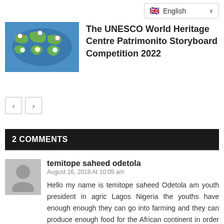[Figure (other): Language selector showing English with UK flag]
[Figure (photo): Colorful world map graphic for UNESCO World Heritage Centre Patrimonito Storyboard Competition 2022]
The UNESCO World Heritage Centre Patrimonito Storyboard Competition 2022
2 COMMENTS
temitope saheed odetola
August 16, 2018 At 10:05 am
Hello my name is temitope saheed Odetola am youth president in agric Lagos Nigeria the youths have enough enough they can go into farming and they can produce enough food for the African continent in order to drastically reduce the importation of foods into Africa. Instead of importing food Africa should expect food to other